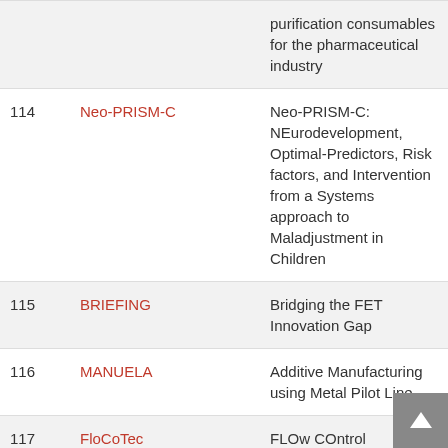| # | Project | Description |
| --- | --- | --- |
|  |  | purification consumables for the pharmaceutical industry |
| 114 | Neo-PRISM-C | Neo-PRISM-C: NEurodevelopment, Optimal-Predictors, Risk factors, and Intervention from a Systems approach to Maladjustment in Children |
| 115 | BRIEFING | Bridging the FET Innovation Gap |
| 116 | MANUELA | Additive Manufacturing using Metal Pilot Line |
| 117 | FloCoTec | FLOw COntrol TEChniques Enabli... |